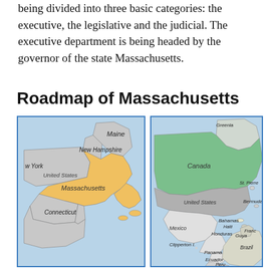being divided into three basic categories: the executive, the legislative and the judicial. The executive department is being headed by the governor of the state Massachusetts.
Roadmap of Massachusetts
[Figure (map): Map showing Massachusetts state highlighted in yellow/orange among neighboring states including Maine, New Hampshire, New York, Connecticut, with label 'United States']
[Figure (map): Map of North America showing Canada (green), United States (gray), Mexico (white), with surrounding regions including Greenland, Bermuda, Bahamas, Haiti, Honduras, Panama, Clipperton I., St. Pierre, France, Ecuador, Peru, Brazil, Guyana]